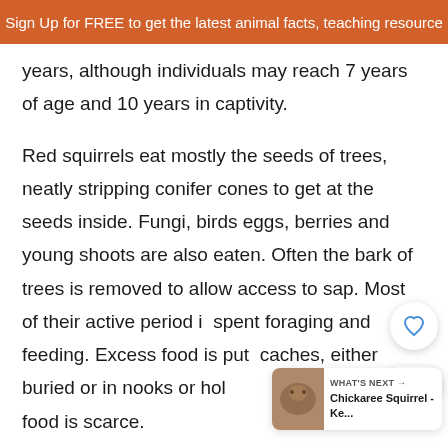Sign Up for FREE to get the latest animal facts, teaching resources
years, although individuals may reach 7 years of age and 10 years in captivity.
Red squirrels eat mostly the seeds of trees, neatly stripping conifer cones to get at the seeds inside. Fungi, birds eggs, berries and young shoots are also eaten. Often the bark of trees is removed to allow access to sap. Most of their active period is spent foraging and feeding. Excess food is put in caches, either buried or in nooks or holes, and eaten when food is scarce.